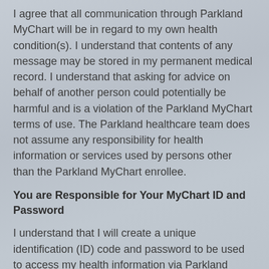I agree that all communication through Parkland MyChart will be in regard to my own health condition(s). I understand that contents of any message may be stored in my permanent medical record. I understand that asking for advice on behalf of another person could potentially be harmful and is a violation of the Parkland MyChart terms of use. The Parkland healthcare team does not assume any responsibility for health information or services used by persons other than the Parkland MyChart enrollee.
You are Responsible for Your MyChart ID and Password
I understand that I will create a unique identification (ID) code and password to be used to access my health information via Parkland MyChart. I understand that this ID and password are unique codes that identify me in the Parkland MyChart computer system. Inquiries and entries that I make via Parkland will be logged with my identity.
I understand that it is extremely important that I keep the ID and password that I use to access Parkland MyChart completely confidential. If at any time I feel that the confidentiality of my password has been compromised, I will